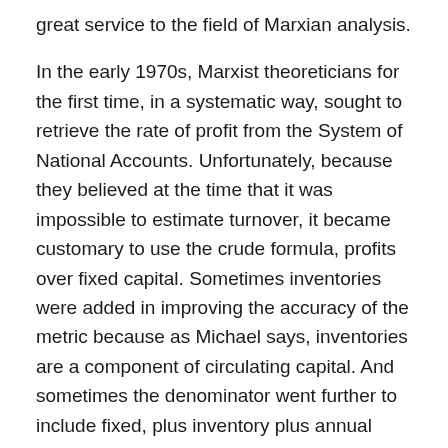great service to the field of Marxian analysis.
In the early 1970s, Marxist theoreticians for the first time, in a systematic way, sought to retrieve the rate of profit from the System of National Accounts. Unfortunately, because they believed at the time that it was impossible to estimate turnover, it became customary to use the crude formula, profits over fixed capital. Sometimes inventories were added in improving the accuracy of the metric because as Michael says, inventories are a component of circulating capital. And sometimes the denominator went further to include fixed, plus inventory plus annual compensation. This denominator is however highly problematic due to duplication, because contained in the inventory figure is an element of the compensation figure taken separately.